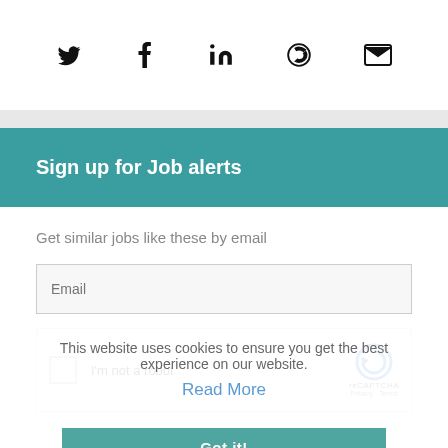[Figure (infographic): Social media sharing icons: Twitter bird, Facebook f, LinkedIn in, WhatsApp circle, Email envelope]
Sign up for Job alerts
Get similar jobs like these by email
[Figure (screenshot): Cookie consent overlay: 'This website uses cookies to ensure you get the best experience on our website. Read More' with a Got it! button]
[Figure (infographic): reCAPTCHA widget with checkbox 'I'm not a robot' and reCAPTCHA logo, Privacy and Terms]
Create alert
By submitting your details you agree to our T&C's